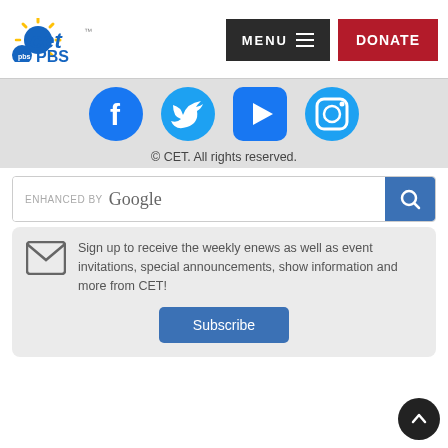[Figure (logo): CET PBS logo with sun rays graphic and PBS circular logo]
[Figure (other): MENU button (dark background) and DONATE button (red background) navigation elements]
[Figure (other): Social media icons: Facebook, Twitter, YouTube, Instagram in blue circular style]
© CET. All rights reserved.
[Figure (other): Google enhanced search bar with search button]
Sign up to receive the weekly enews as well as event invitations, special announcements, show information and more from CET!
Subscribe